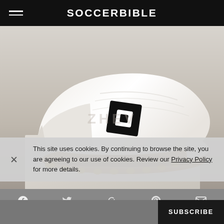SOCCERBIBLE
[Figure (photo): White Lotto soccer cleat/football boot with black Lotto logo on side and golden/tan studs, displayed on a white box surface with blurred background. Watermark text 'ZHEV' visible.]
This site uses cookies. By continuing to browse the site, you are agreeing to our use of cookies. Review our Privacy Policy for more details.
SUBSCRIBE